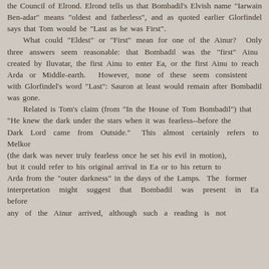the Council of Elrond. Elrond tells us that Bombadil's Elvish name "Iarwain Ben-adar" means "oldest and fatherless", and as quoted earlier Glorfindel says that Tom would be "Last as he was First".

What could "Eldest" or "First" mean for one of the Ainur?  Only three answers seem reasonable: that Bombadil was the "first" Ainu
created by Iluvatar, the first Ainu to enter Ea, or the first Ainu to reach Arda or Middle-earth.   However, none of these seem consistent
with Glorfindel's word "Last": Sauron at least would remain after Bombadil was gone.

Related is Tom's claim (from "In the House of Tom Bombadil") that
"He knew the dark under the stars when it was fearless--before the
Dark Lord came from Outside."  This almost certainly refers to Melkor
(the dark was never truly fearless once he set his evil in motion),
but it could refer to his original arrival in Ea or to his return to
Arda from the "outer darkness" in the days of the Lamps.  The former
interpretation might suggest that Bombadil was present in Ea before
any of the Ainur arrived, although such a reading is not